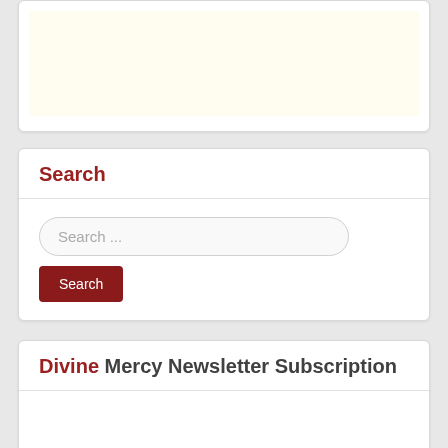[Figure (screenshot): Partial top card with cream/light yellow inner area]
Search
[Figure (screenshot): Search input field with placeholder 'Search ...' and a dark red Search button below]
Divine Mercy Newsletter Subscription